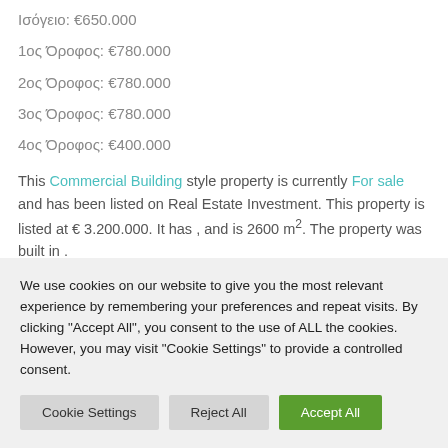Ισόγειο: €650.000
1ος Όροφος: €780.000
2ος Όροφος: €780.000
3ος Όροφος: €780.000
4ος Όροφος: €400.000
This Commercial Building style property is currently For sale and has been listed on Real Estate Investment. This property is listed at € 3.200.000. It has , and is 2600 m². The property was built in .
We use cookies on our website to give you the most relevant experience by remembering your preferences and repeat visits. By clicking "Accept All", you consent to the use of ALL the cookies. However, you may visit "Cookie Settings" to provide a controlled consent.